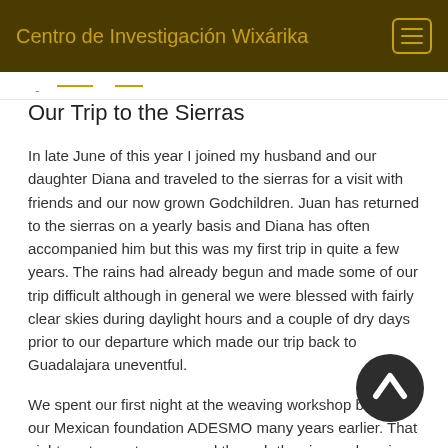Centro de Investigación Wixárika
Our Trip to the Sierras
In late June of this year I joined my husband and our daughter Diana and traveled to the sierras for a visit with friends and our now grown Godchildren. Juan has returned to the sierras on a yearly basis and Diana has often accompanied him but this was my first trip in quite a few years. The rains had already begun and made some of our trip difficult although in general we were blessed with fairly clear skies during daylight hours and a couple of dry days prior to our departure which made our trip back to Guadalajara uneventful.
We spent our first night at the weaving workshop built by our Mexican foundation ADESMO many years earlier. That night, a strong storm passed through the sierras dumping
[Figure (other): Scroll-to-top button: dark circular button with upward-pointing chevron arrow]